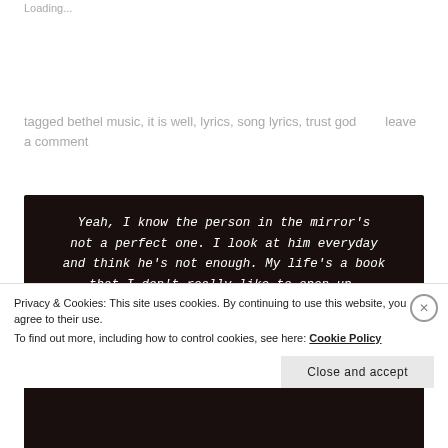Loading...
tagged bethel music, it is well, lyrics, song lyrics, trust god      leave a comment
[Figure (illustration): Dark brown/black background with white handwritten-style text in two stanzas: 'Yeah, I know the person in the mirror's not a perfect one. I look at him everyday and think he's not enough. My life's a book that I don't really like to open up.' and 'Church is where I found God, but it's also where I learned to judge. Yeah, I had to learn there's a difference between what']
Privacy & Cookies: This site uses cookies. By continuing to use this website, you agree to their use. To find out more, including how to control cookies, see here: Cookie Policy
Close and accept